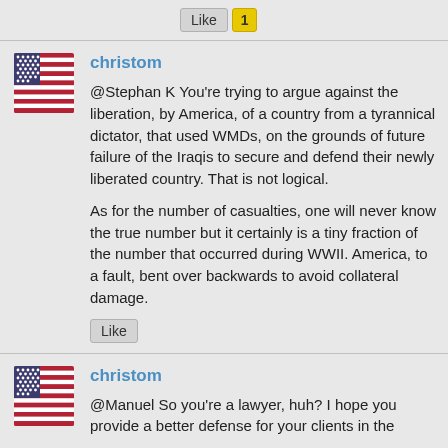[Figure (other): Like button with count of 1 (yellow badge)]
[Figure (photo): US flag avatar for user christom]
christom
@Stephan K You're trying to argue against the liberation, by America, of a country from a tyrannical dictator, that used WMDs, on the grounds of future failure of the Iraqis to secure and defend their newly liberated country. That is not logical.

As for the number of casualties, one will never know the true number but it certainly is a tiny fraction of the number that occurred during WWII. America, to a fault, bent over backwards to avoid collateral damage.
[Figure (other): Like button]
[Figure (photo): US flag avatar for user christom]
christom
@Manuel So you're a lawyer, huh? I hope you provide a better defense for your clients in the